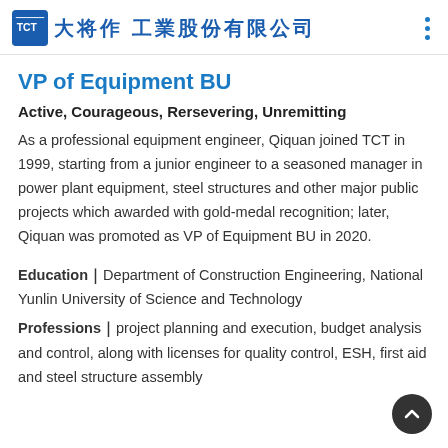大将作工業股份有限公司
VP of Equipment BU
Active, Courageous, Rersevering, Unremitting
As a professional equipment engineer, Qiquan joined TCT in 1999, starting from a junior engineer to a seasoned manager in power plant equipment, steel structures and other major public projects which awarded with gold-medal recognition; later, Qiquan was promoted as VP of Equipment BU in 2020.
Education｜Department of Construction Engineering, National Yunlin University of Science and Technology
Professions｜project planning and execution, budget analysis and control, along with licenses for quality control, ESH, first aid and steel structure assembly